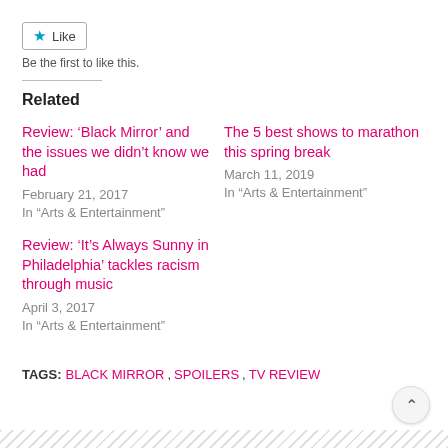Like
Be the first to like this.
Related
Review: ‘Black Mirror’ and the issues we didn’t know we had
February 21, 2017
In “Arts & Entertainment”
The 5 best shows to marathon this spring break
March 11, 2019
In “Arts & Entertainment”
Review: ‘It’s Always Sunny in Philadelphia’ tackles racism through music
April 3, 2017
In “Arts & Entertainment”
TAGS: BLACK MIRROR, SPOILERS, TV REVIEW